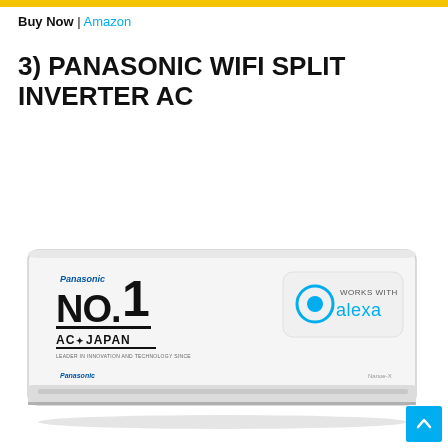Buy Now | Amazon
3) PANASONIC WIFI SPLIT INVERTER AC
[Figure (photo): Panasonic WiFi Split Inverter AC unit — a white wall-mounted air conditioner with 'Panasonic NO.1 AC from JAPAN' branding on the left and 'WORKS WITH alexa' badge on the right.]